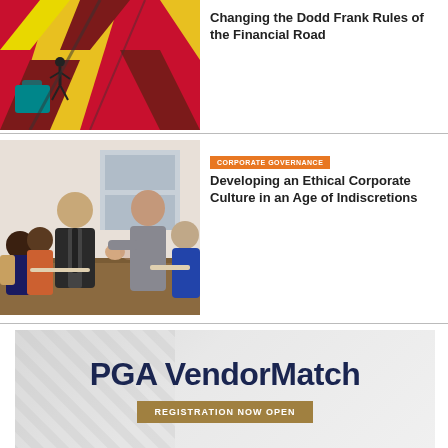[Figure (illustration): Abstract geometric illustration with red, yellow, teal shapes and a small figure]
Changing the Dodd Frank Rules of the Financial Road
[Figure (photo): Business people shaking hands in an office setting, with others seated around a table]
CORPORATE GOVERNANCE
Developing an Ethical Corporate Culture in an Age of Indiscretions
[Figure (infographic): PGA VendorMatch advertisement with diagonal stripe background]
REGISTRATION NOW OPEN